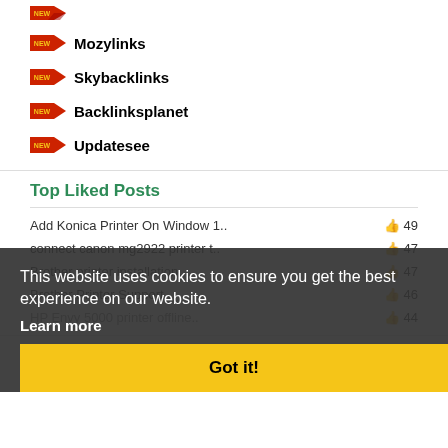Mozylinks
Skybacklinks
Backlinksplanet
Updatesee
Top Liked Posts
Add Konica Printer On Window 1..  49
connect canon mg2922 printer t..  47
Brother printer installation..  47
Brother Printer Support..  46
HP Envy 5000 printer offline..  44
This website uses cookies to ensure you get the best experience on our website.
Learn more
Got it!
Categories